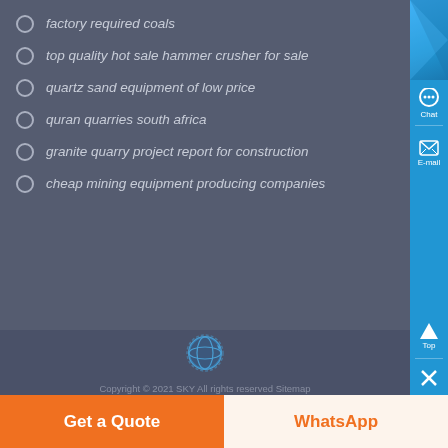factory required coals
top quality hot sale hammer crusher for sale
quartz sand equipment of low price
quran quarries south africa
granite quarry project report for construction
cheap mining equipment producing companies
E-Mail : price@pejaw.com
Copyright © 2021 SKY All rights reserved Sitemap
Get a Quote
WhatsApp